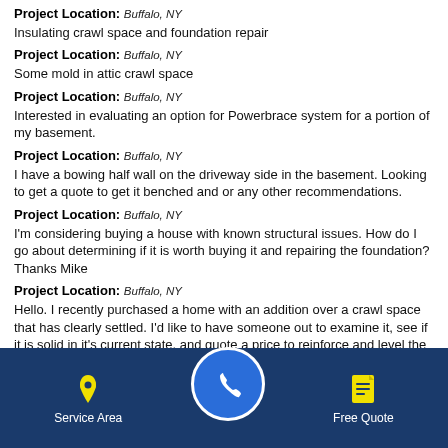Project Location: Buffalo, NY
Insulating crawl space and foundation repair
Project Location: Buffalo, NY
Some mold in attic crawl space
Project Location: Buffalo, NY
Interested in evaluating an option for Powerbrace system for a portion of my basement.
Project Location: Buffalo, NY
I have a bowing half wall on the driveway side in the basement. Looking to get a quote to get it benched and or any other recommendations.
Project Location: Buffalo, NY
I'm considering buying a house with known structural issues. How do I go about determining if it is worth buying it and repairing the foundation? Thanks Mike
Project Location: Buffalo, NY
Hello. I recently purchased a home with an addition over a crawl space that has clearly settled. I'd like to have someone out to examine it, see if it is solid in it's current state, and quote a price to reinforce and level the structure over the crawl space. Thank you. - Mark Webb
Project Location: Buffalo, NY
I have a couple of cracks in the basement wall that when it rains heavily I get water looking through. I wa... FREE estimate on repairing the...
[Figure (infographic): Mobile app bottom navigation bar with dark blue background. Left: yellow map pin icon labeled 'Service Area'. Center: large blue circle with white phone icon (call button). Right: yellow document icon labeled 'Free Quote'.]